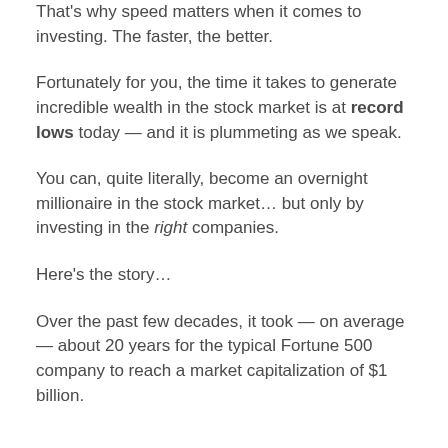That's why speed matters when it comes to investing. The faster, the better.
Fortunately for you, the time it takes to generate incredible wealth in the stock market is at record lows today — and it is plummeting as we speak.
You can, quite literally, become an overnight millionaire in the stock market… but only by investing in the right companies.
Here's the story…
Over the past few decades, it took — on average — about 20 years for the typical Fortune 500 company to reach a market capitalization of $1 billion.